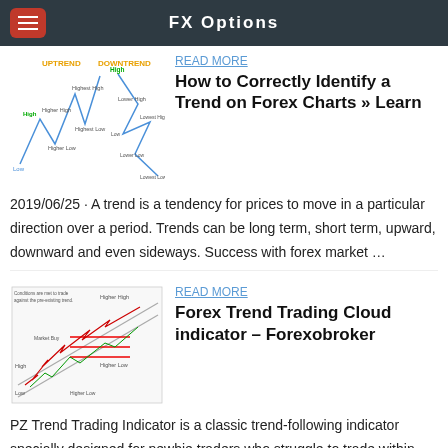FX Options
[Figure (illustration): Uptrend and Downtrend diagram showing Higher Highs, Higher Lows for uptrend and Lower Highs, Lower Lows for downtrend with labeled points: High, Low, Higher High, Higher Low, Highest High, Highest Low on left; High, Lower High, Lower Low, Lowest High, Lowest Low on right]
READ MORE
How to Correctly Identify a Trend on Forex Charts » Learn
2019/06/25 · A trend is a tendency for prices to move in a particular direction over a period. Trends can be long term, short term, upward, downward and even sideways. Success with forex market …
[Figure (illustration): Forex trend trading cloud indicator chart showing upward channel with Higher High, Higher Low labels, candlestick chart inside channel with red horizontal lines]
READ MORE
Forex Trend Trading Cloud indicator – Forexobroker
PZ Trend Trading Indicator is a classic trend-following indicator specially designed for newbie traders who struggle to trade within the correct trends in live markets.